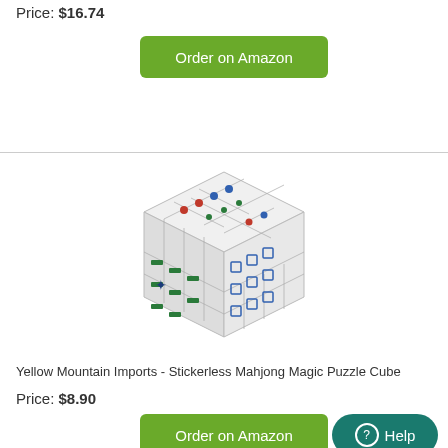Price: $16.74
Order on Amazon
[Figure (photo): Mahjong Magic Puzzle Cube with mahjong tile symbols on each face]
Yellow Mountain Imports - Stickerless Mahjong Magic Puzzle Cube
Price: $8.90
Order on Amazon
Help